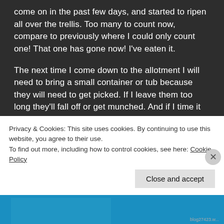come on in the past few days, and started to ripen all over the trellis. Too many to count now, compare to previously where I could only count one! That one has gone now! I've eaten it.
The next time I come down to the allotment I will need to bring a small container or tub because they will need to get picked. If I leave them too long they'll fall off or get munched. And if I time it just right next time I will have enough for a crumble desert!
Lettuce leaves are doing well. They've really started to
Privacy & Cookies: This site uses cookies. By continuing to use this website, you agree to their use.
To find out more, including how to control cookies, see here: Cookie Policy
Close and accept